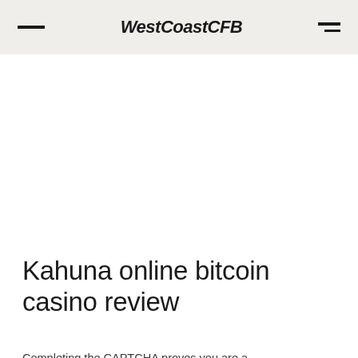WestCoastCFB
Kahuna online bitcoin casino review
Completing the CAPTCHA proves you are a